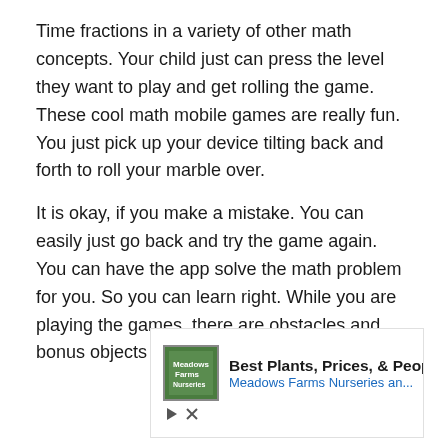Time fractions in a variety of other math concepts. Your child just can press the level they want to play and get rolling the game. These cool math mobile games are really fun. You just pick up your device tilting back and forth to roll your marble over.
It is okay, if you make a mistake. You can easily just go back and try the game again. You can have the app solve the math problem for you. So you can learn right. While you are playing the games, there are obstacles and bonus objects on the screen.
[Figure (other): Advertisement banner for Meadows Farms Nurseries. Shows logo, text 'Best Plants, Prices, & People' and 'Meadows Farms Nurseries an...' with a blue navigation arrow icon, play and close buttons.]